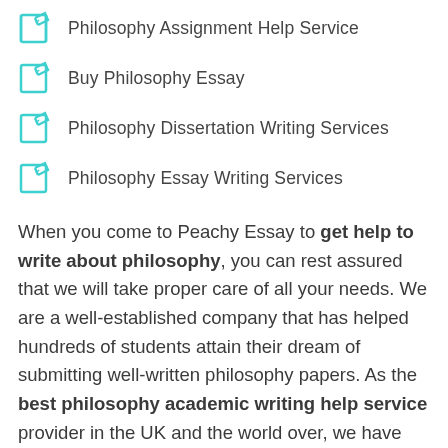Philosophy Assignment Help Service
Buy Philosophy Essay
Philosophy Dissertation Writing Services
Philosophy Essay Writing Services
When you come to Peachy Essay to get help to write about philosophy, you can rest assured that we will take proper care of all your needs. We are a well-established company that has helped hundreds of students attain their dream of submitting well-written philosophy papers. As the best philosophy academic writing help service provider in the UK and the world over, we have continuously maintained a good